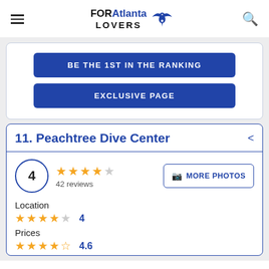FORAtlanta LOVERS
BE THE 1ST IN THE RANKING
EXCLUSIVE PAGE
11. Peachtree Dive Center
4
42 reviews
MORE PHOTOS
Location
4
Prices
4.6